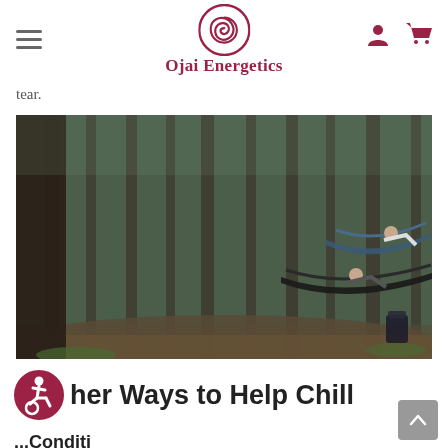Ojai Energetics
tear.
[Figure (photo): Two people relaxing in hammocks in a dense pine forest. The forest floor is covered with pine needles and the trees are tall and closely spaced. The scene is moody and atmospheric.]
her Ways to Help Chill
...conditions, Relax...and The...